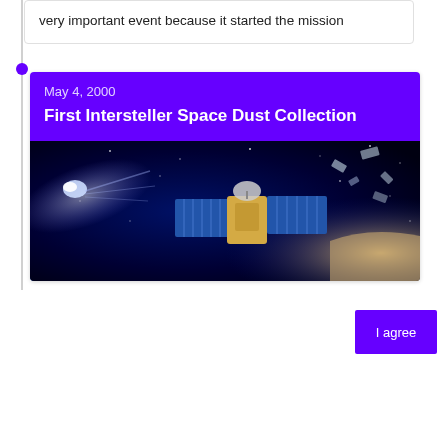very important event because it started the mission
May 4, 2000
First Intersteller Space Dust Collection
[Figure (illustration): Illustration of a spacecraft with solar panels collecting interstellar dust in space, with a comet visible to the left and a starry dark blue background.]
We and our partners will store and/or access personal data on your device through the use of cookies and similar technologies, to display personalised ads, for ad and content measurement, audience insights and product development.
By clicking 'I agree,' you consent to this, or you can manage your preferences.